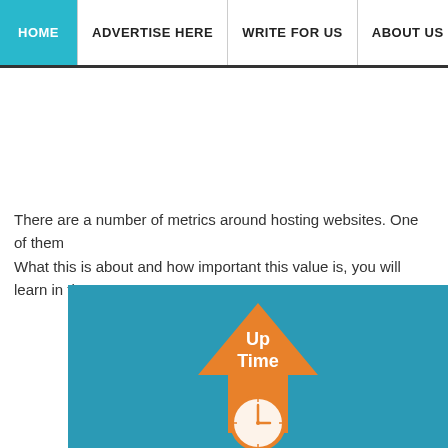HOME | ADVERTISE HERE | WRITE FOR US | ABOUT US
There are a number of metrics around hosting websites. One of them What this is about and how important this value is, you will learn in the
[Figure (illustration): Orange uptime arrow icon with clock symbol on a teal/blue background. The arrow points upward with 'Up Time' text inside, and a clock icon at the base of the arrow.]